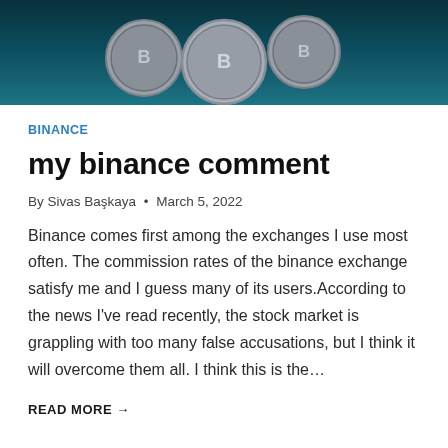[Figure (photo): Hero image showing cryptocurrency coins (likely Binance/BNB) on a dark teal background]
BINANCE
my binance comment
By Sivas Başkaya • March 5, 2022
Binance comes first among the exchanges I use most often. The commission rates of the binance exchange satisfy me and I guess many of its users.According to the news I've read recently, the stock market is grappling with too many false accusations, but I think it will overcome them all. I think this is the…
READ MORE →